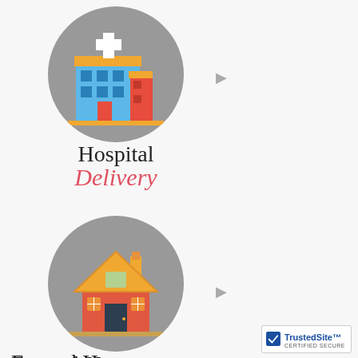[Figure (illustration): Hospital building icon on a grey circle background — flat design with red cross, blue grid windows, red and yellow accents]
Hospital
Delivery
[Figure (illustration): Small house/home icon on a grey circle background — flat design with yellow roof, red brick walls, dark door, chimney]
Funeral Home
Delivery
[Figure (logo): TrustedSite Certified Secure badge — blue checkmark shield icon, TrustedSite in bold blue, CERTIFIED SECURE in small text]